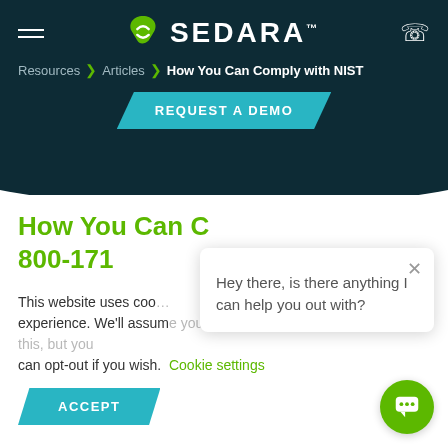[Figure (logo): Sedara logo with green S icon and white SEDARA text with TM mark on dark teal background]
Resources > Articles > How You Can Comply with NIST
REQUEST A DEMO
How You Can C... 800-171
This website uses coo... experience. We'll assume you're ok with this, but you can opt-out if you wish. Cookie settings
ACCEPT
Hey there, is there anything I can help you out with?